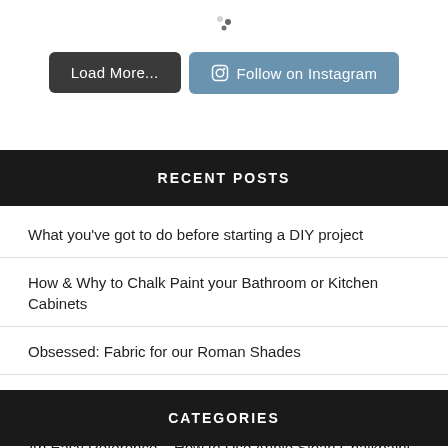[Figure (other): Loading spinner icon with dots]
Load More...
Follow on Instagram
Recent Posts
What you've got to do before starting a DIY project
How & Why to Chalk Paint your Bathroom or Kitchen Cabinets
Obsessed: Fabric for our Roman Shades
Updating a Shared Guest/Children's Bathroom with DIY Art
An Easy Reference – How to Use Annie Sloan Chalkpaint Infographic
Categories